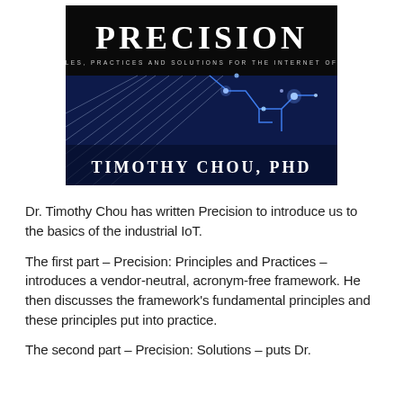[Figure (illustration): Book cover of 'Precision: Principles, Practices and Solutions for the Internet of Things' by Timothy Chou, PhD. Black background with 'PRECISION' in large white serif text, subtitle in small white spaced caps, a blue circuit board/IoT graphic image, and author name 'TIMOTHY CHOU, PHD' in white serif text at the bottom.]
Dr. Timothy Chou has written Precision to introduce us to the basics of the industrial IoT.
The first part – Precision: Principles and Practices – introduces a vendor-neutral, acronym-free framework. He then discusses the framework's fundamental principles and these principles put into practice.
The second part – Precision: Solutions – puts Dr.